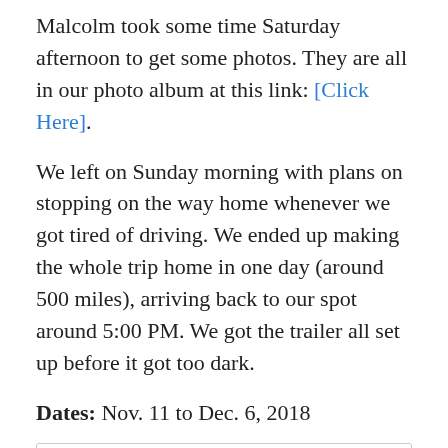Malcolm took some time Saturday afternoon to get some photos. They are all in our photo album at this link: [Click Here].
We left on Sunday morning with plans on stopping on the way home whenever we got tired of driving. We ended up making the whole trip home in one day (around 500 miles), arriving back to our spot around 5:00 PM. We got the trailer all set up before it got too dark.
Dates: Nov. 11 to Dec. 6, 2018
Privacy & Cookies: This site uses cookies. By continuing to use this website, you agree to their use. To find out more, including how to control cookies, see here: Cookie Policy
Close and accept
back. Part of that procedure involved stitches and Malcolm